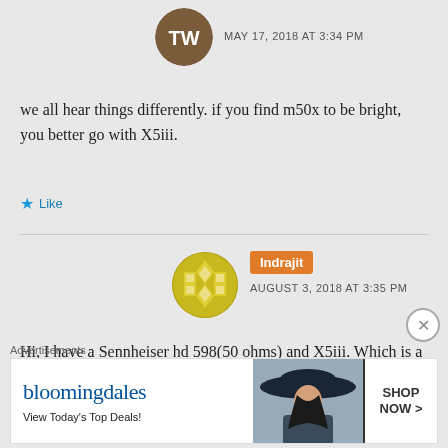[Figure (photo): Avatar of user with initials TW, circular profile image]
MAY 17, 2018 AT 3:34 PM
we all hear things differently. if you find m50x to be bright, you better go with X5iii.
Like
[Figure (photo): Avatar of user Indrajit, circular yellow/gold geometric pattern]
Indrajit
AUGUST 3, 2018 AT 3:35 PM
Hi, I have a Sennheiser hd 598(50 ohms) and X5iii. Which is a better sonic match for the X5iii between
Advertisements
[Figure (other): Bloomingdale's advertisement banner showing logo, 'View Today's Top Deals!', woman in hat, and SHOP NOW button]